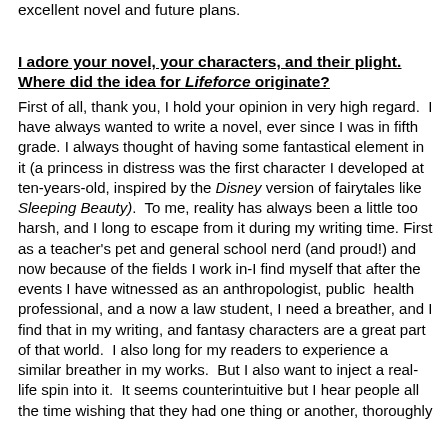excellent novel and future plans.
I adore your novel, your characters, and their plight. Where did the idea for Lifeforce originate?
First of all, thank you, I hold your opinion in very high regard.  I have always wanted to write a novel, ever since I was in fifth grade. I always thought of having some fantastical element in it (a princess in distress was the first character I developed at ten-years-old, inspired by the Disney version of fairytales like Sleeping Beauty).  To me, reality has always been a little too harsh, and I long to escape from it during my writing time. First as a teacher's pet and general school nerd (and proud!) and now because of the fields I work in-I find myself that after the events I have witnessed as an anthropologist, public  health professional, and a now a law student, I need a breather, and I find that in my writing, and fantasy characters are a great part of that world.  I also long for my readers to experience a similar breather in my works.  But I also want to inject a real-life spin into it.  It seems counterintuitive but I hear people all the time wishing that they had one thing or another, thoroughly